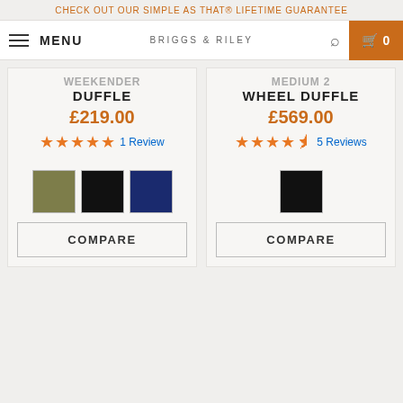CHECK OUT OUR SIMPLE AS THAT® LIFETIME GUARANTEE
MENU | BRIGGS & RILEY | 0
WEEKENDER DUFFLE
£219.00
★★★★★ 1 Review
MEDIUM 2 WHEEL DUFFLE
£569.00
★★★★½ 5 Reviews
COMPARE
COMPARE